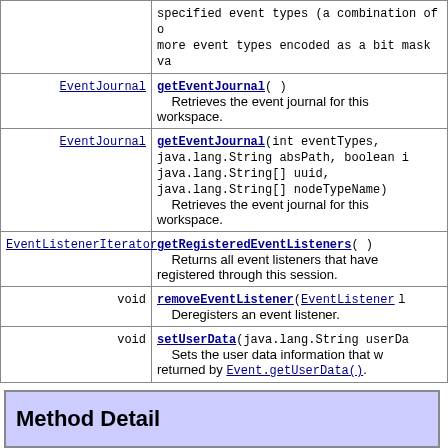| Type | Method / Description |
| --- | --- |
|  | specified event types (a combination of one or more event types encoded as a bit mask va |
| EventJournal | getEventJournal()
    Retrieves the event journal for this workspace. |
| EventJournal | getEventJournal(int eventTypes, java.lang.String absPath, boolean i java.lang.String[] uuid, java.lang.String[] nodeTypeName)
    Retrieves the event journal for this workspace. |
| EventListenerIterator | getRegisteredEventListeners()
    Returns all event listeners that have registered through this session. |
| void | removeEventListener(EventListener l)
    Deregisters an event listener. |
| void | setUserData(java.lang.String userDa
    Sets the user data information that w returned by Event.getUserData(). |
Method Detail